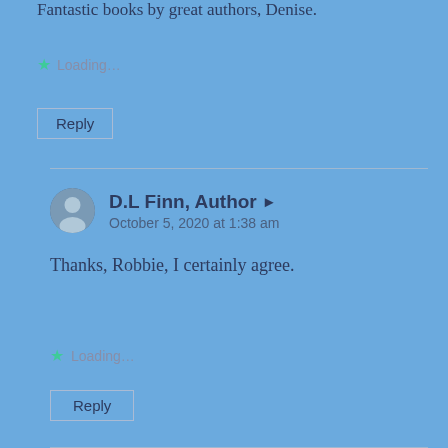Fantastic books by great authors, Denise.
Loading...
Reply
D.L Finn, Author
October 5, 2020 at 1:38 am
Thanks, Robbie, I certainly agree.
Loading...
Reply